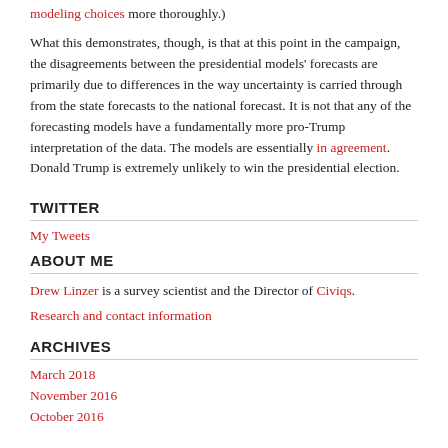modeling choices more thoroughly.) What this demonstrates, though, is that at this point in the campaign, the disagreements between the presidential models' forecasts are primarily due to differences in the way uncertainty is carried through from the state forecasts to the national forecast. It is not that any of the forecasting models have a fundamentally more pro-Trump interpretation of the data. The models are essentially in agreement. Donald Trump is extremely unlikely to win the presidential election.
TWITTER
My Tweets
ABOUT ME
Drew Linzer is a survey scientist and the Director of Civiqs.
Research and contact information
ARCHIVES
March 2018
November 2016
October 2016